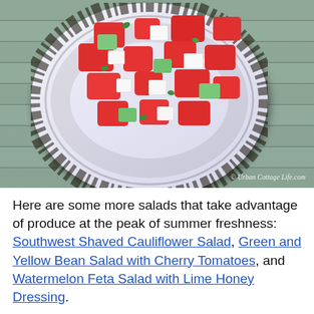[Figure (photo): A decorative black and white floral-patterned plate holding a watermelon feta salad with cucumber, mint/herbs, and red onion, placed on a weathered wooden surface. Watermark reads '© Urban Cottage Life.com']
Here are some more salads that take advantage of produce at the peak of summer freshness: Southwest Shaved Cauliflower Salad, Green and Yellow Bean Salad with Cherry Tomatoes, and Watermelon Feta Salad with Lime Honey Dressing.